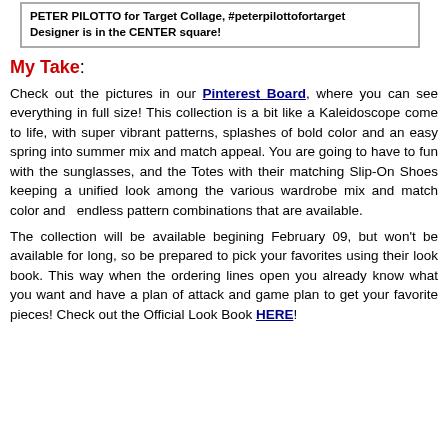PETER PILOTTO for Target Collage, #peterpilottofortarget Designer is in the CENTER square!
My Take:
Check out the pictures in our Pinterest Board, where you can see everything in full size! This collection is a bit like a Kaleidoscope come to life, with super vibrant patterns, splashes of bold color and an easy spring into summer mix and match appeal. You are going to have to fun with the sunglasses, and the Totes with their matching Slip-On Shoes keeping a unified look among the various wardrobe mix and match color and endless pattern combinations that are available.
The collection will be available begining February 09, but won't be available for long, so be prepared to pick your favorites using their look book. This way when the ordering lines open you already know what you want and have a plan of attack and game plan to get your favorite pieces! Check out the Official Look Book HERE!